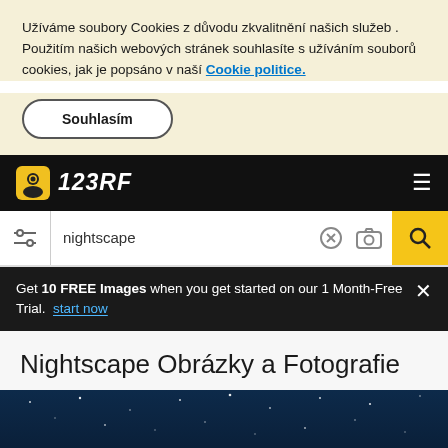Užíváme soubory Cookies z důvodu zkvalitnění našich služeb . Použitím našich webových stránek souhlasíte s užíváním souborů cookies, jak je popsáno v naší Cookie politice.
Souhlasím
[Figure (logo): 123RF logo with camera icon on black navigation bar]
[Figure (screenshot): Search bar with 'nightscape' query, filter icon, clear icon, camera icon, and yellow search button]
Get 10 FREE Images when you get started on our 1 Month-Free Trial. start now
Nightscape Obrázky a Fotografie
[Figure (photo): Dark blue night sky image preview with stars]